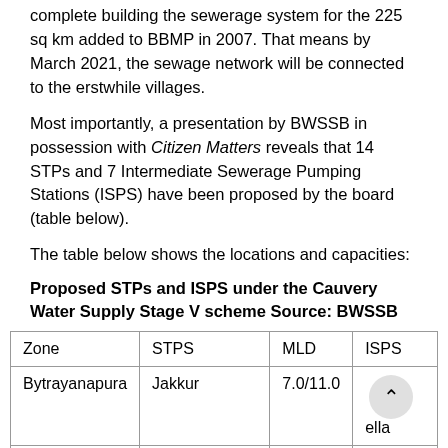complete building the sewerage system for the 225 sq km added to BBMP in 2007. That means by March 2021, the sewage network will be connected to the erstwhile villages.
Most importantly, a presentation by BWSSB in possession with Citizen Matters reveals that 14 STPs and 7 Intermediate Sewerage Pumping Stations (ISPS) have been proposed by the board (table below).
The table below shows the locations and capacities:
Proposed STPs and ISPS under the Cauvery Water Supply Stage V scheme Source: BWSSB
| Zone | STPS | MLD | ISPS |
| --- | --- | --- | --- |
| Bytrayanapura | Jakkur | 7.0/11.0 | ella |
|  | Yelahankakere | 6.0/15.0 |  |